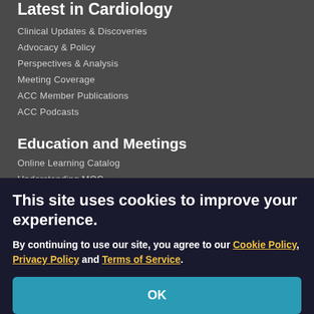Latest in Cardiology
Clinical Updates & Discoveries
Advocacy & Policy
Perspectives & Analysis
Meeting Coverage
ACC Member Publications
ACC Podcasts
Education and Meetings
Online Learning Catalog
Understanding MOC
Products and Resources
Image and Slide Gallery
Meetings
Annual Scientific Session ↗
Tools and Practice Support
This site uses cookies to improve your experience.
By continuing to use our site, you agree to our Cookie Policy, Privacy Policy and Terms of Service.
OK